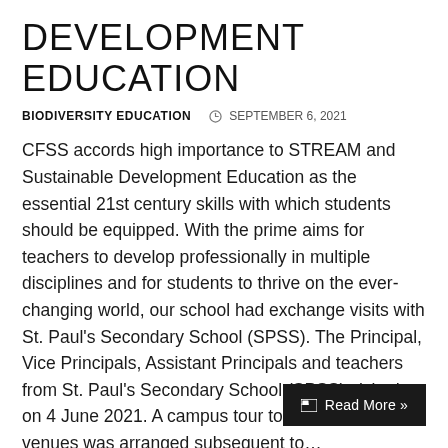DEVELOPMENT EDUCATION
BIODIVERSITY EDUCATION   SEPTEMBER 6, 2021
CFSS accords high importance to STREAM and Sustainable Development Education as the essential 21st century skills with which students should be equipped. With the prime aims for teachers to develop professionally in multiple disciplines and for students to thrive on the ever-changing world, our school had exchange visits with St. Paul's Secondary School (SPSS). The Principal, Vice Principals, Assistant Principals and teachers from St. Paul's Secondary School (SPSS) visited us on 4 June 2021. A campus tour to different learning venues was arranged subsequent to...
Read More »